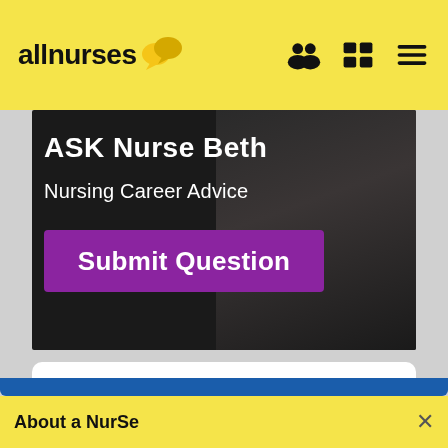allnurses
[Figure (photo): Ask Nurse Beth - Nursing Career Advice banner with a photo of a woman and a purple Submit Question button]
Looking For Answers?
Submit Your Career Questions
About a NurSe